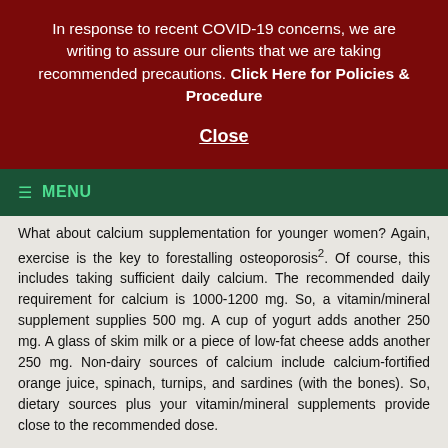In response to recent COVID-19 concerns, we are writing to assure our clients that we are taking recommended precautions. Click Here for Policies & Procedure
Close
≡ MENU
What about calcium supplementation for younger women? Again, exercise is the key to forestalling osteoporosis2. Of course, this includes taking sufficient daily calcium. The recommended daily requirement for calcium is 1000-1200 mg. So, a vitamin/mineral supplement supplies 500 mg. A cup of yogurt adds another 250 mg. A glass of skim milk or a piece of low-fat cheese adds another 250 mg. Non-dairy sources of calcium include calcium-fortified orange juice, spinach, turnips, and sardines (with the bones). So, dietary sources plus your vitamin/mineral supplements provide close to the recommended dose.